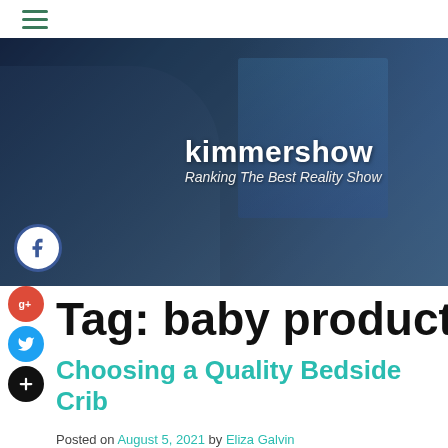☰ (hamburger menu icon)
[Figure (photo): Person with headphones and beard working at dual monitor setup in a dark studio. Text overlay reads 'kimmershow' and 'Ranking The Best Reality Show'. Facebook icon overlay at bottom left.]
Tag: baby products
Choosing a Quality Bedside Crib
Posted on August 5, 2021 by Eliza Galvin